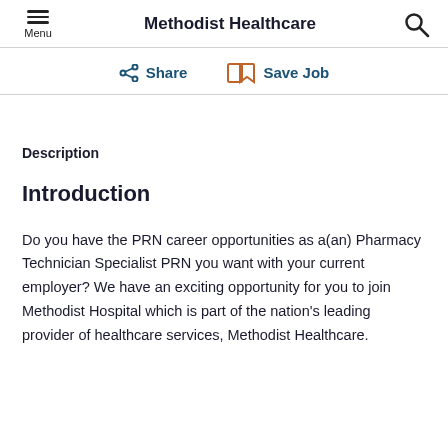Methodist Healthcare
Share   Save Job
Description
Introduction
Do you have the PRN career opportunities as a(an) Pharmacy Technician Specialist PRN you want with your current employer? We have an exciting opportunity for you to join Methodist Hospital which is part of the nation's leading provider of healthcare services, Methodist Healthcare.